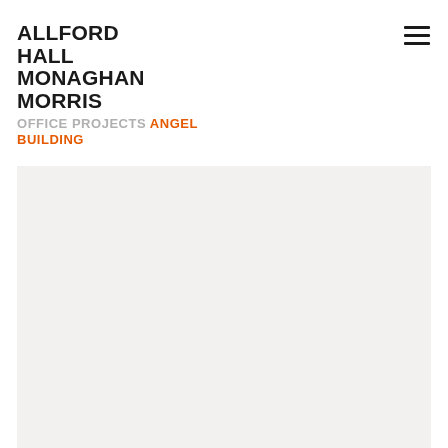ALLFORD HALL MONAGHAN MORRIS
OFFICE PROJECTS ANGEL BUILDING
[Figure (photo): Large light gray/beige image placeholder area for the Angel Building project photograph]